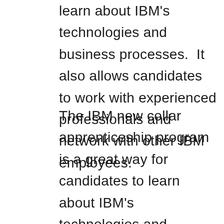learn about IBM's technologies and business processes. It also allows candidates to work with experienced professionals and network with other IBM employees.
The IBM new collar apprenticeship program is a great way for candidates to learn about IBM's technologies and business processes. It also allows candidates to work with experienced professionals and network with other IBM employees. If you're interested in a career in technology, this is a great...